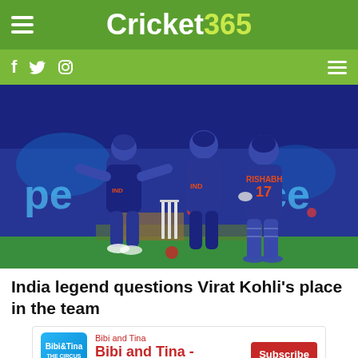Cricket 365
[Figure (photo): Indian cricket players in blue jerseys celebrating on the field; one player wearing number 17 RISHABH jersey visible from behind, stumps in background]
India legend questions Virat Kohli's place in the team
[Figure (other): Advertisement banner: Bibi and Tina - YouTube channel with Subscribe button]